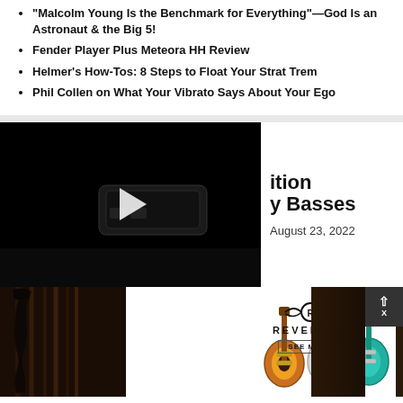“Malcolm Young Is the Benchmark for Everything”—God Is an Astronaut & the Big 5!
Fender Player Plus Meteora HH Review
Helmer’s How-Tos: 8 Steps to Float Your Strat Trem
Phil Collen on What Your Vibrato Says About Your Ego
[Figure (screenshot): Video thumbnail showing a dark image of what appears to be a guitar pedal or effect unit on a surface, with a play button overlay. Partially visible bold text reads 'ition' and 'y Basses' (title partially cropped), dated August 23, 2022.]
[Figure (photo): Advertisement banner for Reverend guitars showing three electric guitars (sunburst, white/silver, and teal/turquoise) against a white background, with Reverend logo and 'SEE MORE' button. Background shows dark wood-paneled room with bass guitar on the left side.]